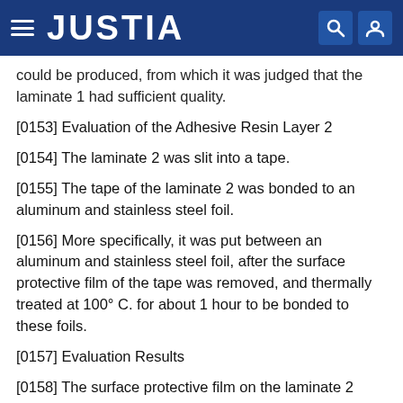JUSTIA
could be produced, from which it was judged that the laminate 1 had sufficient quality.
[0153] Evaluation of the Adhesive Resin Layer 2
[0154] The laminate 2 was slit into a tape.
[0155] The tape of the laminate 2 was bonded to an aluminum and stainless steel foil.
[0156] More specifically, it was put between an aluminum and stainless steel foil, after the surface protective film of the tape was removed, and thermally treated at 100° C. for about 1 hour to be bonded to these foils.
[0157] Evaluation Results
[0158] The surface protective film on the laminate 2